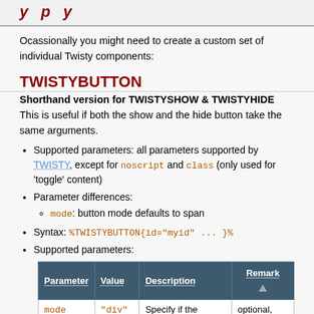y   p   y
Ocassionally you might need to create a custom set of individual Twisty components:
TWISTYBUTTON
Shorthand version for TWISTYSHOW & TWISTYHIDE This is useful if both the show and the hide button take the same arguments.
Supported parameters: all parameters supported by TWISTY, except for noscript and class (only used for 'toggle' content)
Parameter differences:
mode: button mode defaults to span
Syntax: %TWISTYBUTTON{id="myid" ... }%
Supported parameters:
| Parameter | Value | Description | Remark |
| --- | --- | --- | --- |
| mode | "div" or "span" | Specify if the Twisty button will use a <div> or a | optional, defaults to <span> |